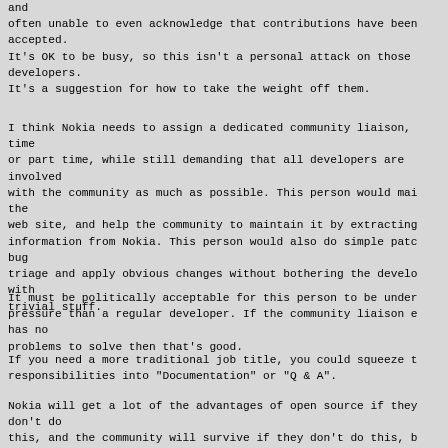and
often unable to even acknowledge that contributions have been
accepted.
It's OK to be busy, so this isn't a personal attack on those
developers.
It's a suggestion for how to take the weight off them.
I think Nokia needs to assign a dedicated community liaison,
time
or part time, while still demanding that all developers are
involved
with the community as much as possible. This person would mai
the
web site, and help the community to maintain it by extracting
information from Nokia. This person would also do simple patc
bug
triage and apply obvious changes without bothering the develo
with
trivial stuff.
It must be politically acceptable for this person to be under
pressure than a regular developer. If the community liaison e
has no
problems to solve then that's good.
If you need a more traditional job title, you could squeeze t
responsibilities into "Documentation" or "Q & A".
Nokia will get a lot of the advantages of open source if they
don't do
this, and the community will survive if they don't do this, b
think
the extra salary would be a good investment to get even more